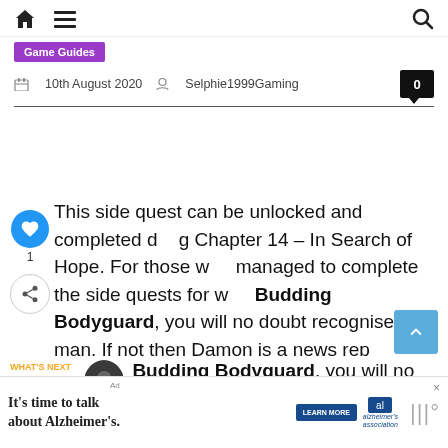Home | Menu | Search
Game Guides
10th August 2020  Selphie1999Gaming  0
This side quest can be unlocked and completed during Chapter 14 – In Search of Hope. For those who managed to complete the side quests for Budding Bodyguard, you will no doubt recognise this man. If not then Damon is a news rep
[Figure (other): Bottom advertisement banner: It's time to talk about Alzheimer's. Learn More button. Alzheimer's Association logo.]